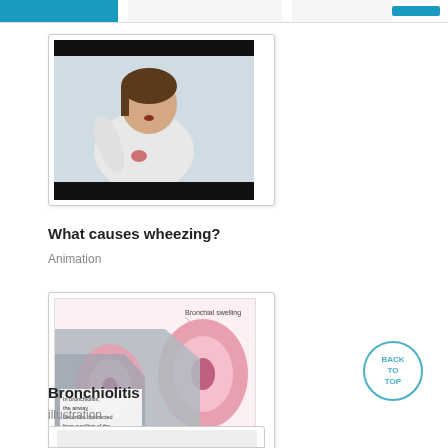[Figure (photo): Video thumbnail showing a child wheezing, dark top and bottom bars around photo]
What causes wheezing?
Animation
[Figure (illustration): Medical illustration of bronchiolitis showing bronchial swelling with labeled diagram; text reads 'In bronchiolitis, the airway becomes obstructed from swelling of the bronchiole walls']
Bronchiolitis
illustration